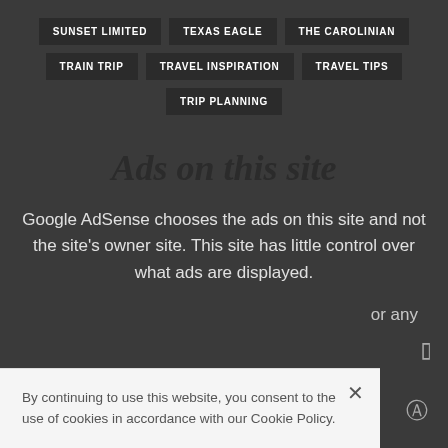SUNSET LIMITED
TEXAS EAGLE
THE CAROLINIAN
TRAIN TRIP
TRAVEL INSPIRATION
TRAVEL TIPS
TRIP PLANNING
Ads on this site
Google AdSense chooses the ads on this site and not the site’s owner site. This site has little control over what ads are displayed.
or any
By continuing to use this website, you consent to the use of cookies in accordance with our Cookie Policy.